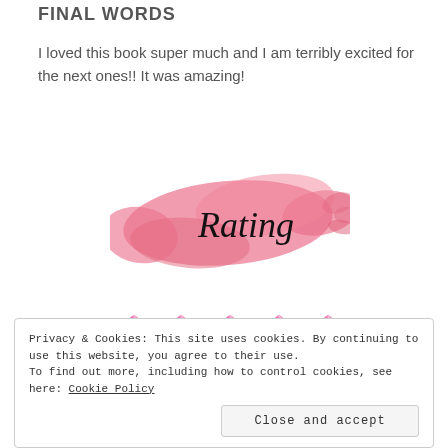FINAL WORDS
I loved this book super much and I am terribly excited for the next ones!! It was amazing!
[Figure (illustration): Pink/red brushstroke with cursive text 'Rating' overlaid on it]
[Figure (illustration): Five pink diamond gem icons in a row representing a 5-star rating]
Privacy & Cookies: This site uses cookies. By continuing to use this website, you agree to their use.
To find out more, including how to control cookies, see here: Cookie Policy
Close and accept